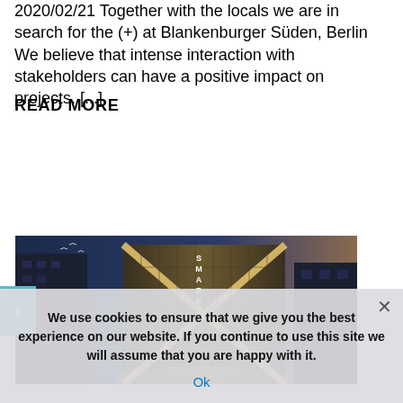2020/02/21 Together with the locals we are in search for the (+) at Blankenburger Süden, Berlin We believe that intense interaction with stakeholders can have a positive impact on projects. [...]
READ MORE
[Figure (photo): Architectural rendering of a modern building at night/dusk with illuminated X-shaped facade and signage, viewed from street level, with other buildings on sides.]
We use cookies to ensure that we give you the best experience on our website. If you continue to use this site we will assume that you are happy with it.
Ok